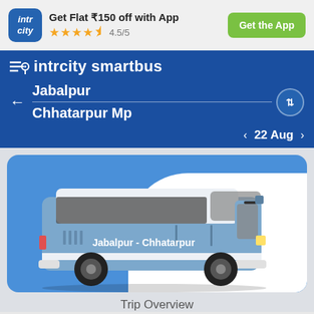Get Flat ₹150 off with App  ★★★★½ 4.5/5  Get the App
intrcity smartbus
Jabalpur
Chhatarpur Mp
< 22 Aug >
[Figure (illustration): Blue intercity bus illustration labeled Jabalpur - Chhatarpur on a blue and white card background]
Trip Overview